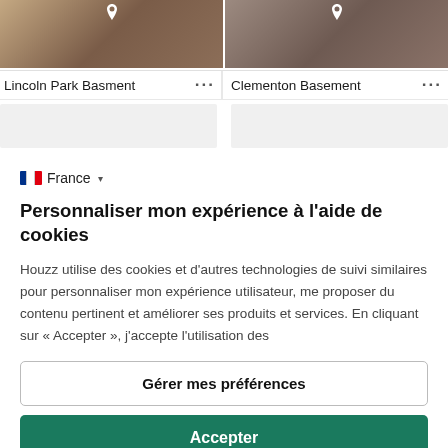[Figure (screenshot): Two photo cards for Lincoln Park Basment and Clementon Basement with gray placeholder cards below]
Lincoln Park Basment ... Clementon Basement ...
France ▾
Personnaliser mon expérience à l'aide de cookies
Houzz utilise des cookies et d'autres technologies de suivi similaires pour personnaliser mon expérience utilisateur, me proposer du contenu pertinent et améliorer ses produits et services. En cliquant sur « Accepter », j'accepte l'utilisation des
Gérer mes préférences
Accepter